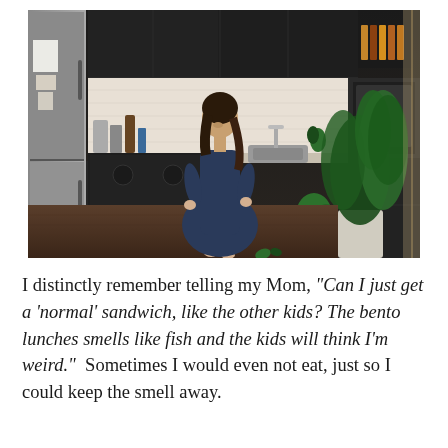[Figure (photo): A woman in a navy blue wrap dress stands barefoot on hardwood floors in a modern kitchen, looking down. Behind her are dark cabinets, a refrigerator with papers on it, a stove, and countertops. To the right are large green houseplants near a window.]
I distinctly remember telling my Mom, "Can I just get a 'normal' sandwich, like the other kids? The bento lunches smells like fish and the kids will think I'm weird."  Sometimes I would even not eat, just so I could keep the smell away.